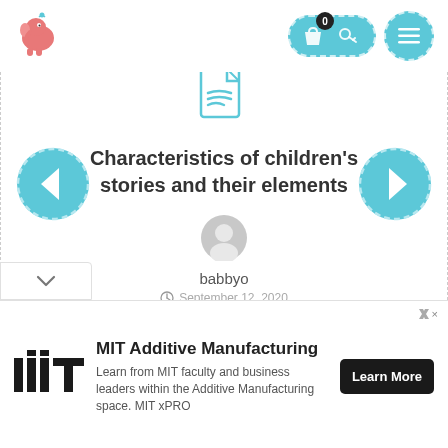[Figure (logo): Pink elephant logo icon with small heart/bird above]
[Figure (screenshot): Navigation icons: shopping bag with badge '0', key icon in teal pill shape, and teal menu circle with hamburger lines]
[Figure (illustration): Teal document/file icon with wavy lines]
Characteristics of children's stories and their elements
[Figure (illustration): Left navigation arrow circle (teal with dashed border)]
[Figure (illustration): Right navigation arrow circle (teal with dashed border)]
[Figure (illustration): Gray user avatar circle icon]
babbyo
September 12, 2020
[Figure (logo): MIT logo in black and white vertical bar style]
MIT Additive Manufacturing
Learn from MIT faculty and business leaders within the Additive Manufacturing space. MIT xPRO
Learn More